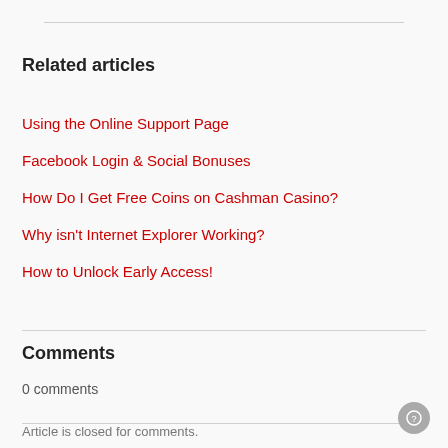Related articles
Using the Online Support Page
Facebook Login & Social Bonuses
How Do I Get Free Coins on Cashman Casino?
Why isn't Internet Explorer Working?
How to Unlock Early Access!
Comments
0 comments
Article is closed for comments.